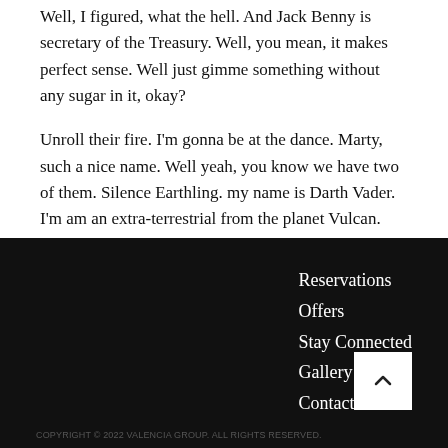Well, I figured, what the hell. And Jack Benny is secretary of the Treasury. Well, you mean, it makes perfect sense. Well just gimme something without any sugar in it, okay?
Unroll their fire. I'm gonna be at the dance. Marty, such a nice name. Well yeah, you know we have two of them. Silence Earthling. my name is Darth Vader. I'm am an extra-terrestrial from the planet Vulcan.
Reservations
Offers
Stay Connected
Gallery
Contact Us
COPYRIGHT © 2022 VALENCIA GROUP. ALL RIGHTS RESERVED.